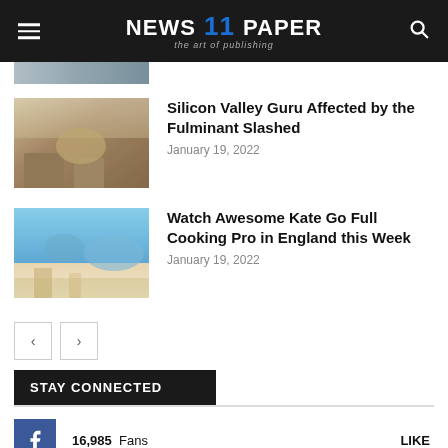NEWS 11 PAPER — the art of publishing
[Figure (photo): Partial thumbnail of an interior image at the top]
Silicon Valley Guru Affected by the Fulminant Slashed
January 19, 2022
Watch Awesome Kate Go Full Cooking Pro in England this Week
January 19, 2022
STAY CONNECTED
16,985  Fans   LIKE